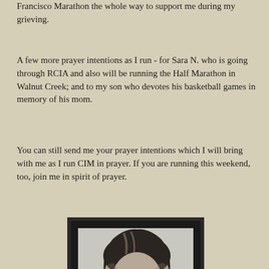Francisco Marathon the whole way to support me during my grieving.
A few more prayer intentions as I run - for Sara N. who is going through RCIA and also will be running the Half Marathon in Walnut Creek; and to my son who devotes his basketball games in memory of his mom.
You can still send me your prayer intentions which I will bring with me as I run CIM in prayer. If you are running this weekend, too, join me in spirit of prayer.
[Figure (photo): A framed black and white portrait photograph of a woman with short dark hair wearing glasses, holding or near a pink rose. The photo has a black mat and dark frame.]